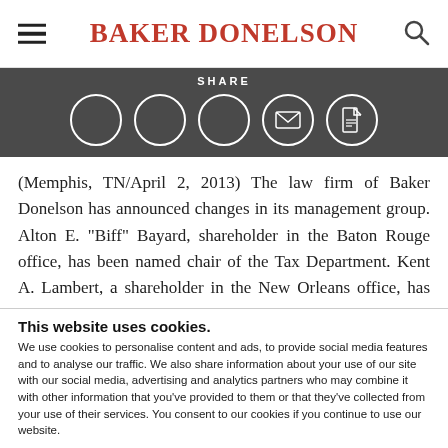BAKER DONELSON
[Figure (infographic): Share bar with dark background showing SHARE label and five circular icon buttons (social share, email, PDF)]
(Memphis, TN/April 2, 2013) The law firm of Baker Donelson has announced changes in its management group. Alton E. "Biff" Bayard, shareholder in the Baton Rouge office, has been named chair of the Tax Department. Kent A. Lambert, a shareholder in the New Orleans office, has assumed the role of chair of the Business Litigation Group. William S. Mendenhall
This website uses cookies.
We use cookies to personalise content and ads, to provide social media features and to analyse our traffic. We also share information about your use of our site with our social media, advertising and analytics partners who may combine it with other information that you've provided to them or that they've collected from your use of their services. You consent to our cookies if you continue to use our website.